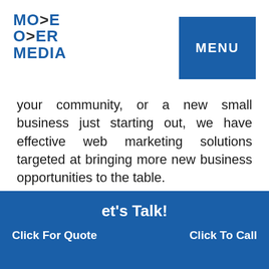[Figure (logo): Move Over Media logo with stylized text MO>E O>ER MEDIA in blue]
MENU
your community, or a new small business just starting out, we have effective web marketing solutions targeted at bringing more new business opportunities to the table.
All it takes is a quick, no-pressure conversation with one of our internet marketing specialists to determine our compatibility and to discover how we can accelerate your business growth.
Let's Talk! Click For Quote  Click To Call